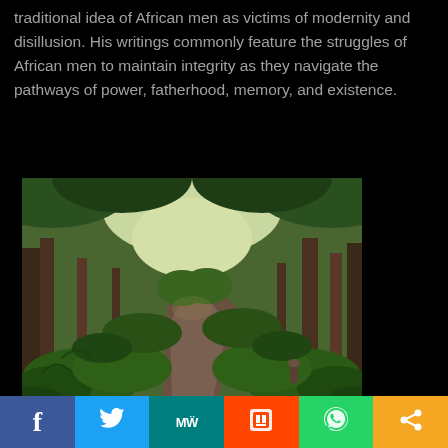traditional idea of African men as victims of modernity and disillusion. His writings commonly feature the struggles of African men to maintain integrity as they navigate the pathways of power, fatherhood, memory, and existence.
[Figure (photo): A winding dirt path through a lush green African forest with tall trees and dense vegetation on both sides]
Social share bar with buttons: Facebook, Twitter, MW, Reddit, WhatsApp, Share